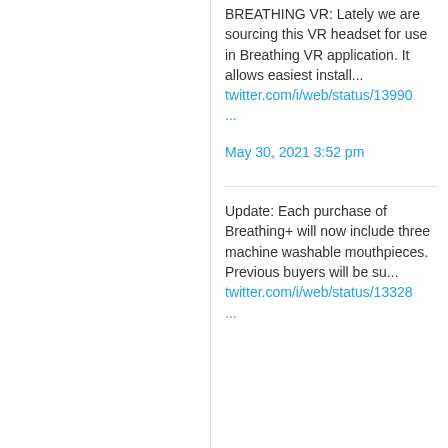BREATHING VR: Lately we are sourcing this VR headset for use in Breathing VR application. It allows easiest install...
twitter.com/i/web/status/13990...
May 30, 2021 3:52 pm
Update: Each purchase of Breathing+ will now include three machine washable mouthpieces. Previous buyers will be su...
twitter.com/i/web/status/13328...